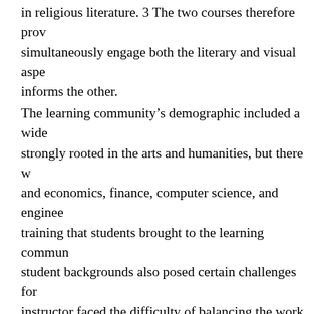in religious literature. 3 The two courses therefore prov simultaneously engage both the literary and visual aspe informs the other.
The learning community's demographic included a wide strongly rooted in the arts and humanities, but there wo and economics, finance, computer science, and engineer training that students brought to the learning commun student backgrounds also posed certain challenges for t instructor faced the difficulty of balancing the work bet understanding of the visual arts with those that were n trained in visual vocabulary, visual analyses, and effecti historical information. For the history course, similarly, with writing papers in the humanities and those who st